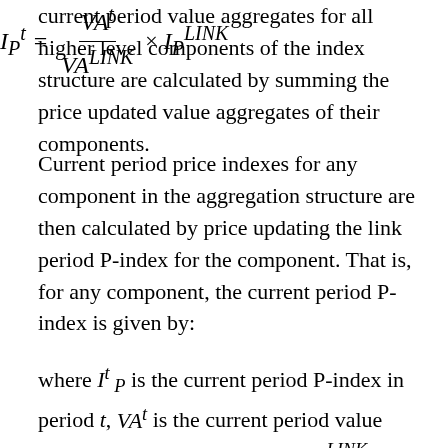current period value aggregates for all higher level components of the index structure are calculated by summing the price updated value aggregates of their components.
Current period price indexes for any component in the aggregation structure are then calculated by price updating the link period P-index for the component. That is, for any component, the current period P-index is given by:
where I^t_P is the current period P-index in period t, VA^t is the current period value aggregate for the component, VA^LINK is the link period value aggregate for the component and I_P^LINK is the